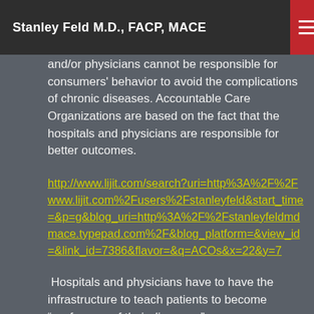Stanley Feld M.D., FACP, MACE
and/or physicians cannot be responsible for consumers' behavior to avoid the complications of chronic diseases. Accountable Care Organizations are based on the fact that the hospitals and physicians are responsible for better outcomes.
http://www.lijit.com/search?uri=http%3A%2F%2Fwww.lijit.com%2Fusers%2Fstanleyfeld&start_time=&p=g&blog_uri=http%3A%2F%2Fstanleyfeldmdmace.typepad.com%2F&blog_platform=&view_id=&link_id=7386&flavor=&q=ACOs&x=22&y=7
Hospitals and physicians have to have the infrastructure to teach patients to become “professors of their diseases.”